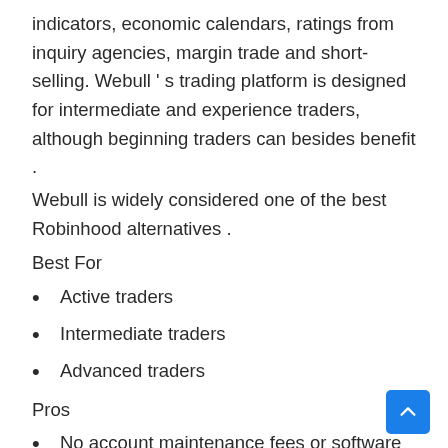indicators, economic calendars, ratings from inquiry agencies, margin trade and short-selling. Webull ‘ s trading platform is designed for intermediate and experience traders, although beginning traders can besides benefit .
Webull is widely considered one of the best Robinhood alternatives .
Best For
Active traders
Intermediate traders
Advanced traders
Pros
No account maintenance fees or software